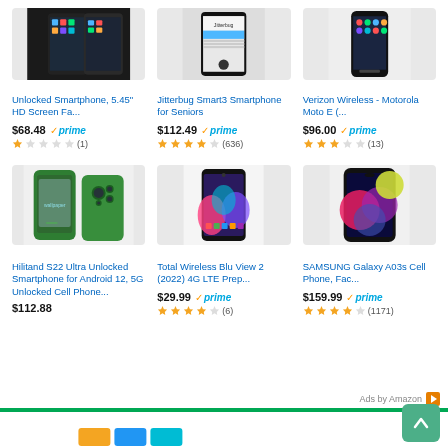[Figure (photo): Unlocked Smartphone black device product photo]
Unlocked Smartphone, 5.45" HD Screen Fa...
$68.48 prime
★☆☆☆☆ (1)
[Figure (photo): Jitterbug Smart3 Smartphone black device product photo]
Jitterbug Smart3 Smartphone for Seniors
$112.49 prime
★★★★☆ (636)
[Figure (photo): Verizon Wireless Motorola Moto E smartphone product photo]
Verizon Wireless - Motorola Moto E (...
$96.00 prime
★★★☆☆ (13)
[Figure (photo): Hilitand S22 Ultra green smartphone product photo]
Hilitand S22 Ultra Unlocked Smartphone for Android 12, 5G Unlocked Cell Phone...
$112.88
[Figure (photo): Total Wireless Blu View 2 colorful smartphone product photo]
Total Wireless Blu View 2 (2022) 4G LTE Prep...
$29.99 prime
★★★★☆ (6)
[Figure (photo): SAMSUNG Galaxy A03s colorful display smartphone product photo]
SAMSUNG Galaxy A03s Cell Phone, Fac...
$159.99 prime
★★★★☆ (1171)
Ads by Amazon